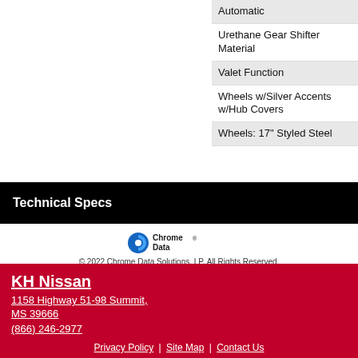Automatic
Urethane Gear Shifter Material
Valet Function
Wheels w/Silver Accents w/Hub Covers
Wheels: 17" Styled Steel
Technical Specs
[Figure (logo): Chrome Data logo - blue circular icon with Chrome Data text]
© 2022 Chrome Data Solutions, LP. All Rights Reserved.
KH Nissan
1158 Highway 51-98 Summit, MS 39666
(866) 246-2977
Privacy Policy | Site Map | Contact Us